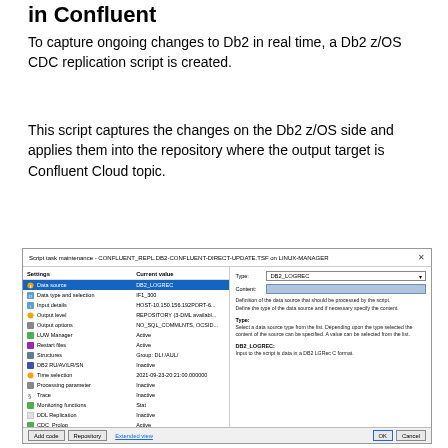in Confluent
To capture ongoing changes to Db2 in real time, a Db2 z/OS CDC replication script is created.
This script captures the changes on the Db2 z/OS side and applies them into the repository where the output target is Confluent Cloud topic.
[Figure (screenshot): Script task maintenance dialog window titled 'Script task maintenance - CONFLUENT_REPL.DB2-CONFLUENT-DIRECT-UPDATE.TSF on LINUX-MANAGER'. Left panel shows settings including Data source (DB2_LOGREC, highlighted), Data type and selection (IF1_300), Input details (HOST-10.150.156.192PORT-6...), Output level (REPOSITORY (3-DML availabl...), Output options (NO_SQL_COMMLNTS, OCSID...), LUW Manager (Active), Restart files (Active), Structures (Group: DLI /AUL/), DB2 RU/AV/LR/SN (Inactive), Time selection (2021-09-23-20:21:00.000000), Processing parameter (Inactive), Trace (Inactive), Monitoring functions (Stat), DDL Replication (Inactive), CDC_Prolog (Active), CDC_Epilog (Active). Right panel shows Type: DB2_LOGREC dropdown and Content field, with description text. Bottom buttons: Add code, Repository, Extended view (left), OK, Cancel (right).]